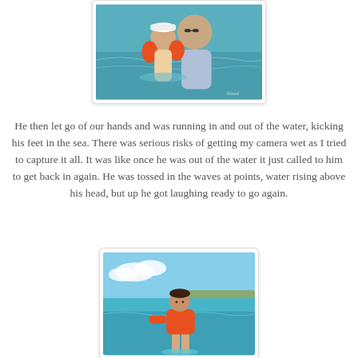[Figure (photo): Adult holding a young child wearing orange floaties in the sea, child wearing a white visor cap]
He then let go of our hands and was running in and out of the water, kicking his feet in the sea. There was serious risks of getting my camera wet as I tried to capture it all. It was like once he was out of the water it just called to him to get back in again. He was tossed in the waves at points, water rising above his head, but up he got laughing ready to go again.
[Figure (photo): Young child wearing orange floaties standing at the water's edge on a beach with turquoise sea and blue sky in background]